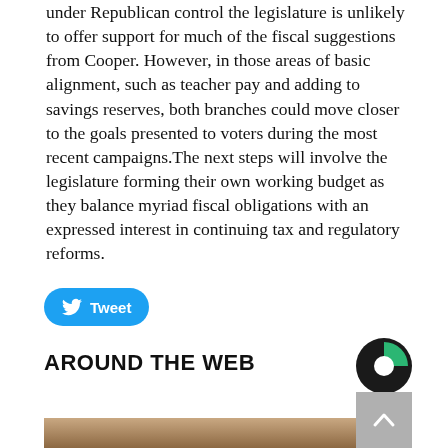under Republican control the legislature is unlikely to offer support for much of the fiscal suggestions from Cooper. However, in those areas of basic alignment, such as teacher pay and adding to savings reserves, both branches could move closer to the goals presented to voters during the most recent campaigns.The next steps will involve the legislature forming their own working budget as they balance myriad fiscal obligations with an expressed interest in continuing tax and regulatory reforms.
[Figure (other): Twitter Tweet button — blue rounded rectangle with bird icon and 'Tweet' label]
AROUND THE WEB
[Figure (logo): Circular logo with green and dark segments (Taboola/content recommendation logo)]
[Figure (photo): Close-up photo of a dark-haired woman applying something to her face near her eye area]